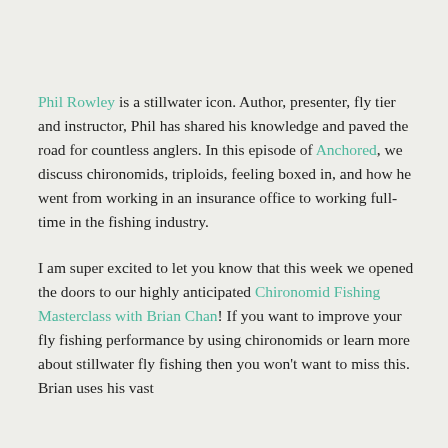Phil Rowley is a stillwater icon. Author, presenter, fly tier and instructor, Phil has shared his knowledge and paved the road for countless anglers. In this episode of Anchored, we discuss chironomids, triploids, feeling boxed in, and how he went from working in an insurance office to working full-time in the fishing industry.
I am super excited to let you know that this week we opened the doors to our highly anticipated Chironomid Fishing Masterclass with Brian Chan! If you want to improve your fly fishing performance by using chironomids or learn more about stillwater fly fishing then you won't want to miss this. Brian uses his vast